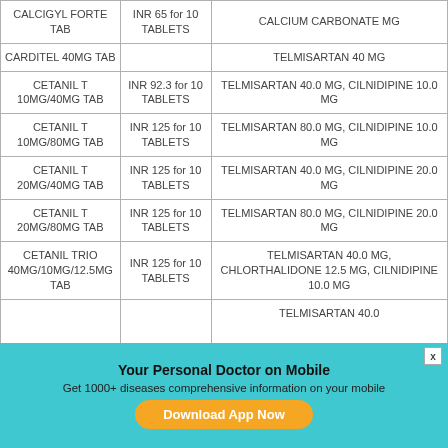| BRAND NAME | PRICE | COMPOSITION |
| --- | --- | --- |
| CALCIGYL FORTE TAB | INR 65 for 10 TABLETS | CALCIUM CARBONATE MG |
| CARDITEL 40MG TAB |  | TELMISARTAN 40 MG |
| CETANIL T 10MG/40MG TAB | INR 92.3 for 10 TABLETS | TELMISARTAN 40.0 MG, CILNIDIPINE 10.0 MG |
| CETANIL T 10MG/80MG TAB | INR 125 for 10 TABLETS | TELMISARTAN 80.0 MG, CILNIDIPINE 10.0 MG |
| CETANIL T 20MG/40MG TAB | INR 125 for 10 TABLETS | TELMISARTAN 40.0 MG, CILNIDIPINE 20.0 MG |
| CETANIL T 20MG/80MG TAB | INR 125 for 10 TABLETS | TELMISARTAN 80.0 MG, CILNIDIPINE 20.0 MG |
| CETANIL TRIO 40MG/10MG/12.5MG TAB | INR 125 for 10 TABLETS | TELMISARTAN 40.0 MG, CHLORTHALIDONE 12.5 MG, CILNIDIPINE 10.0 MG |
|  |  | TELMISARTAN 40.0 |
Your Personal Doctor on Mobile
Get 1000+ diseases comprehensive information on your mobile
Download App Now